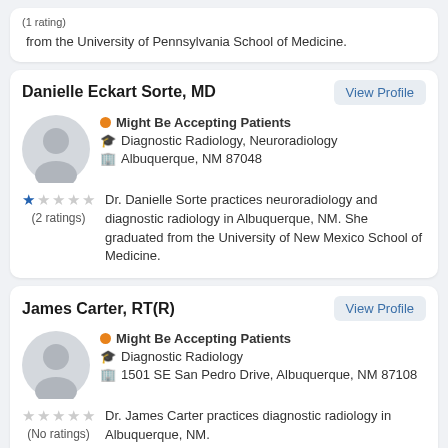(1 rating) from the University of Pennsylvania School of Medicine.
Danielle Eckart Sorte, MD
Might Be Accepting Patients
Diagnostic Radiology, Neuroradiology
Albuquerque, NM 87048
Dr. Danielle Sorte practices neuroradiology and diagnostic radiology in Albuquerque, NM. She graduated from the University of New Mexico School of Medicine.
2 ratings
James Carter, RT(R)
Might Be Accepting Patients
Diagnostic Radiology
1501 SE San Pedro Drive, Albuquerque, NM 87108
Dr. James Carter practices diagnostic radiology in Albuquerque, NM.
No ratings
Dr. Brian Curtis Potts, M.D.